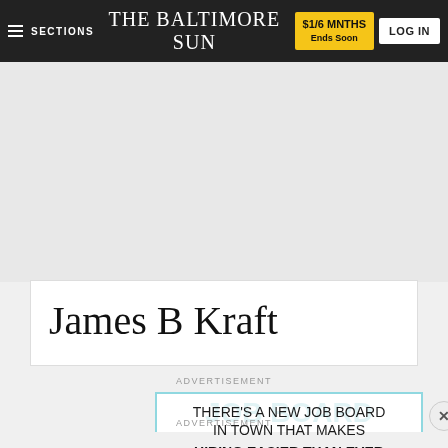SECTIONS | THE BALTIMORE SUN | $1/6 MNTHS Ends Soon | LOG IN
James B Kraft
ADVERTISEMENT
[Figure (other): Advertisement banner: 'THERE'S A NEW JOB BOARD IN TOWN THAT MAKES HIRING EASIER THAN EVER' with close button]
ADVERTISEMENT